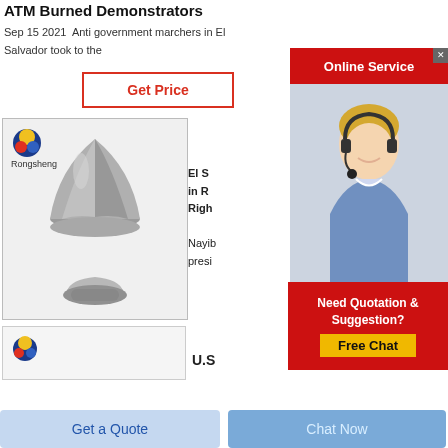ATM Burned Demonstrators
Sep 15 2021  Anti government marchers in El Salvador took to the
Get Price
[Figure (screenshot): Online Service red banner with white text and close X button]
[Figure (photo): Rongsheng logo with product image — gray cone-shaped powder material on a stand]
El S in R Righ Nayib presi
[Figure (photo): Customer service representative woman with headset smiling]
[Figure (infographic): Need Quotation & Suggestion? Free Chat button on red background]
[Figure (photo): Bottom product thumbnail with Rongsheng logo]
U.S
Get a Quote
Chat Now